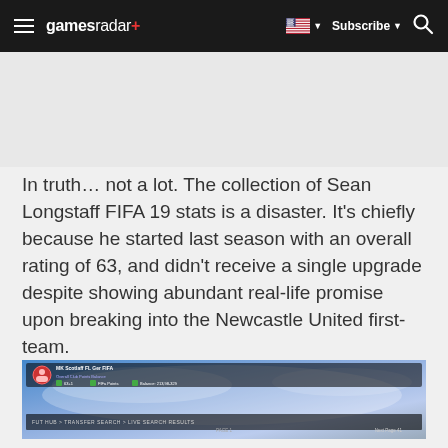gamesradar+ | Subscribe | Search
In truth... not a lot. The collection of Sean Longstaff FIFA 19 stats is a disaster. It’s chiefly because he started last season with an overall rating of 63, and didn’t receive a single upgrade despite showing abundant real-life promise upon breaking into the Newcastle United first-team.
[Figure (screenshot): FIFA 19 in-game screenshot showing a player search/transfer market screen with a red player card icon, stats, and navigation bar at the bottom reading 'FUT HUB > TRANSFER SEARCH > LIVE SEARCH RESULTS'. Page 1 shown at bottom center with Next Page button.]